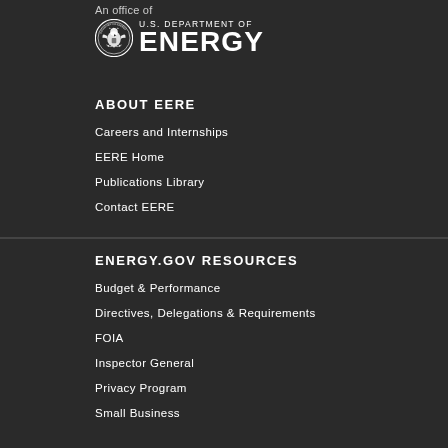An office of
[Figure (logo): U.S. Department of Energy seal and wordmark logo in white on dark background]
ABOUT EERE
Careers and Internships
EERE Home
Publications Library
Contact EERE
ENERGY.GOV RESOURCES
Budget & Performance
Directives, Delegations & Requirements
FOIA
Inspector General
Privacy Program
Small Business